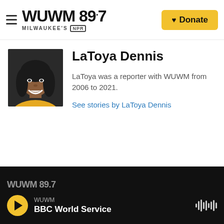WUWM 89.7 MILWAUKEE'S NPR — Donate
[Figure (photo): Headshot of LaToya Dennis, a woman with dark shoulder-length hair, smiling, wearing a yellow top, against a dark background.]
LaToya Dennis
LaToya was a reporter with WUWM from 2006 to 2021.
See stories by LaToya Dennis
WUWM — BBC World Service (player bar)